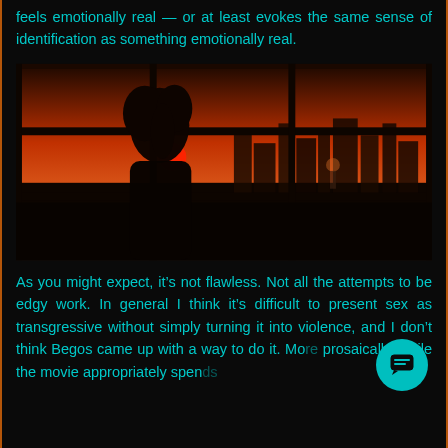feels emotionally real — or at least evokes the same sense of identification as something emotionally real.
[Figure (photo): A silhouette of a woman with curly hair standing in front of large industrial-style windows at sunset, with a city skyline visible through the glass and warm orange-red sky.]
As you might expect, it's not flawless. Not all the attempts to be edgy work. In general I think it's difficult to present sex as transgressive without simply turning it into violence, and I don't think Begos came up with a way to do it. More prosaically, while the movie appropriately spends a lot of time developing the characters, there are f